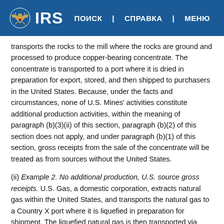IRS | ПОИСК | СПРАВКА | МЕНЮ
transports the rocks to the mill where the rocks are ground and processed to produce copper-bearing concentrate. The concentrate is transported to a port where it is dried in preparation for export, stored, and then shipped to purchasers in the United States. Because, under the facts and circumstances, none of U.S. Mines' activities constitute additional production activities, within the meaning of paragraph (b)(3)(ii) of this section, paragraph (b)(2) of this section does not apply, and under paragraph (b)(1) of this section, gross receipts from the sale of the concentrate will be treated as from sources without the United States.
(ii) Example 2. No additional production, U.S. source gross receipts. U.S. Gas, a domestic corporation, extracts natural gas within the United States, and transports the natural gas to a Country X port where it is liquefied in preparation for shipment. The liquefied natural gas is then transported via freighter and sold without additional production activities in a foreign country. Under